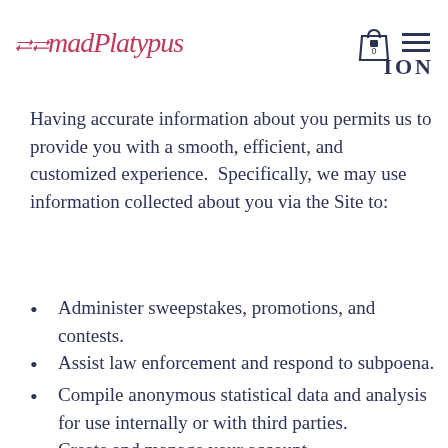madPlatypus | ION
Having accurate information about you permits us to provide you with a smooth, efficient, and customized experience.  Specifically, we may use information collected about you via the Site to:
Administer sweepstakes, promotions, and contests.
Assist law enforcement and respond to subpoena.
Compile anonymous statistical data and analysis for use internally or with third parties.
Create and manage your account.
Deliver targeted advertising,